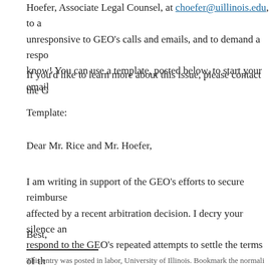Hoefer, Associate Legal Counsel, at choefer@uillinois.edu, to a unresponsive to GEO’s calls and emails, and to demand a respo know! You can use a template, posted below, to start your email
If you’d like to learn more about this issue, please contact the G
Template:
Dear Mr. Rice and Mr. Hoefer,
I am writing in support of the GEO’s efforts to secure reimburse affected by a recent arbitration decision. I decry your silence an respond to the GEO’s repeated attempts to settle the terms of th
Best,
This entry was posted in labor, University of Illinois. Bookmark the normali